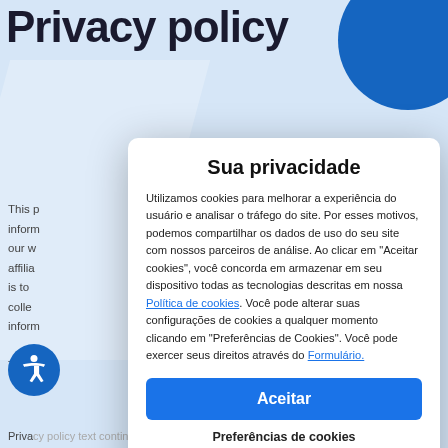Privacy policy
This p
inform
our w
affilia
is to
colle
inform

The p
[Figure (screenshot): Cookie consent modal popup in Portuguese with title 'Sua privacidade', body text about cookies, accept button, and Lgpdy branding]
Powered by Lgpdy